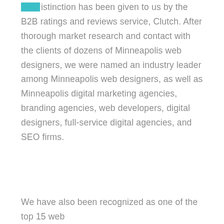This distinction has been given to us by the B2B ratings and reviews service, Clutch. After thorough market research and contact with the clients of dozens of Minneapolis web designers, we were named an industry leader among Minneapolis web designers, as well as Minneapolis digital marketing agencies, branding agencies, web developers, digital designers, full-service digital agencies, and SEO firms.
We have also been recognized as one of the top 15 web